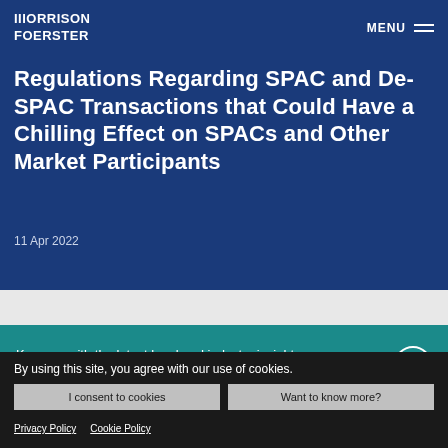MORRISON FOERSTER | MENU
Regulations Regarding SPAC and De-SPAC Transactions that Could Have a Chilling Effect on SPACs and Other Market Participants
11 Apr 2022
Keep up with the latest legal and industry insights, news, and events from MoFo
By using this site, you agree with our use of cookies.
I consent to cookies
Want to know more?
Privacy Policy   Cookie Policy